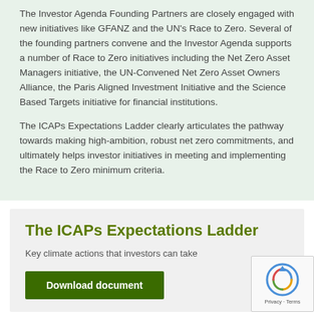The Investor Agenda Founding Partners are closely engaged with new initiatives like GFANZ and the UN's Race to Zero. Several of the founding partners convene and the Investor Agenda supports a number of Race to Zero initiatives including the Net Zero Asset Managers initiative, the UN-Convened Net Zero Asset Owners Alliance, the Paris Aligned Investment Initiative and the Science Based Targets initiative for financial institutions.
The ICAPs Expectations Ladder clearly articulates the pathway towards making high-ambition, robust net zero commitments, and ultimately helps investor initiatives in meeting and implementing the Race to Zero minimum criteria.
The ICAPs Expectations Ladder
Key climate actions that investors can take
Download document